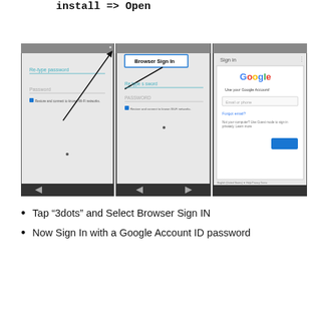install => Open
[Figure (screenshot): Three screenshots of a smartphone screen showing the WiFi Bypass steps: first screen shows Re-type password and Password fields with a diagonal arrow pointing to top-right corner; second screen shows Browser Sign In popup highlighted at the top with Re type password and PASSWORD fields, a checkbox for Restore and connect to known Wi-Fi networks, and a back arrow button at bottom; third screen shows a Google Sign In page with Email or phone field, Forgot email link, and a blue Next button.]
Tap “3dots” and Select Browser Sign IN
Now Sign In with a Google Account ID password